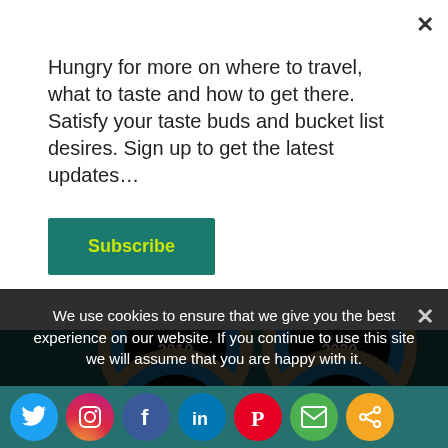Hungry for more on where to travel, what to taste and how to get there. Satisfy your taste buds and bucket list desires. Sign up to get the latest updates…
Subscribe
[Figure (illustration): Four USA Today 10Best Readers' Choice award badges for years 2019, 2020, 2021, 2022 on a teal background]
We use cookies to ensure that we give you the best experience on our website. If you continue to use this site we will assume that you are happy with it.
[Figure (illustration): Social media icons row: Twitter, Instagram, Facebook, LinkedIn, Pinterest, Email, Share]